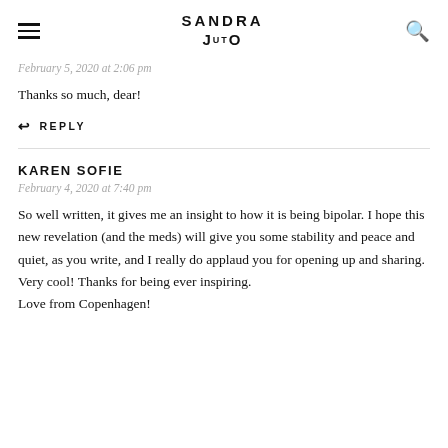SANDRA JUTO
February 5, 2020 at 2:06 pm
Thanks so much, dear!
REPLY
KAREN SOFIE
February 4, 2020 at 7:40 pm
So well written, it gives me an insight to how it is being bipolar. I hope this new revelation (and the meds) will give you some stability and peace and quiet, as you write, and I really do applaud you for opening up and sharing. Very cool! Thanks for being ever inspiring.
Love from Copenhagen!